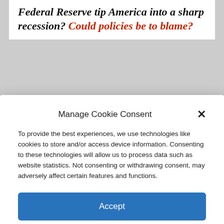Federal Reserve tip America into a sharp recession? Could policies be to blame?
To provide the best experiences, we use technologies like cookies to store and/or access device information. Consenting to these technologies will allow us to process data such as website statistics. Not consenting or withdrawing consent, may adversely affect certain features and functions.
Accept
Cookie Policy  Privacy Policy
Conservative 5 -